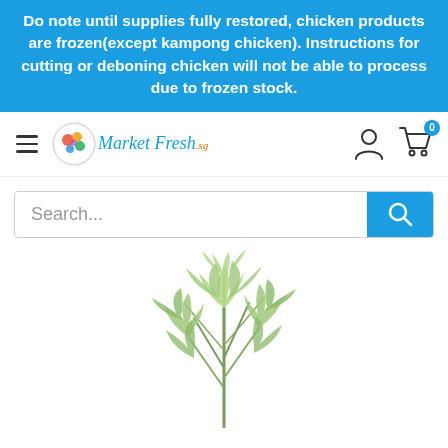Do note until supplies fully restored, chicken products are frozen(except kampong chicken). Instructions for cutting or deboning chicken will not be able to process due to frozen stock.
[Figure (logo): MarketFresh.sg logo with circular emblem showing colorful produce and stylized italic text]
[Figure (screenshot): Navigation bar with hamburger menu, MarketFresh.sg logo, user account icon, and shopping cart icon with badge showing 0]
[Figure (other): Search bar with placeholder text 'Search...' and blue search button]
[Figure (photo): Fresh green coriander/cilantro herb bunch on white background]